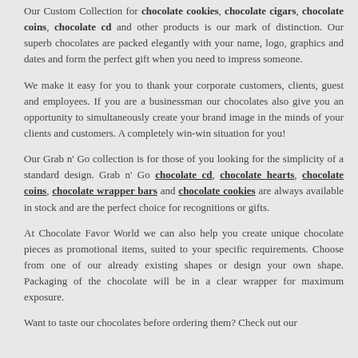Our Custom Collection for chocolate cookies, chocolate cigars, chocolate coins, chocolate cd and other products is our mark of distinction. Our superb chocolates are packed elegantly with your name, logo, graphics and dates and form the perfect gift when you need to impress someone.
We make it easy for you to thank your corporate customers, clients, guest and employees. If you are a businessman our chocolates also give you an opportunity to simultaneously create your brand image in the minds of your clients and customers. A completely win-win situation for you!
Our Grab n' Go collection is for those of you looking for the simplicity of a standard design. Grab n' Go chocolate cd, chocolate hearts, chocolate coins, chocolate wrapper bars and chocolate cookies are always available in stock and are the perfect choice for recognitions or gifts.
At Chocolate Favor World we can also help you create unique chocolate pieces as promotional items, suited to your specific requirements. Choose from one of our already existing shapes or design your own shape. Packaging of the chocolate will be in a clear wrapper for maximum exposure.
Want to taste our chocolates before ordering them? Check out our